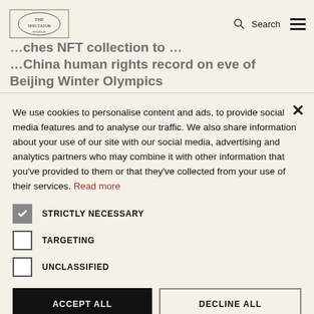Search [hamburger menu]
Beijing Winter Olympics
Collectors can write their own message about China’s regime
We use cookies to personalise content and ads, to provide social media features and to analyse our traffic. We also share information about your use of our site with our social media, advertising and analytics partners who may combine it with other information that you’ve provided to them or that they’ve collected from your use of their services. Read more
STRICTLY NECESSARY
TARGETING
UNCLASSIFIED
ACCEPT ALL
DECLINE ALL
SHOW DETAILS